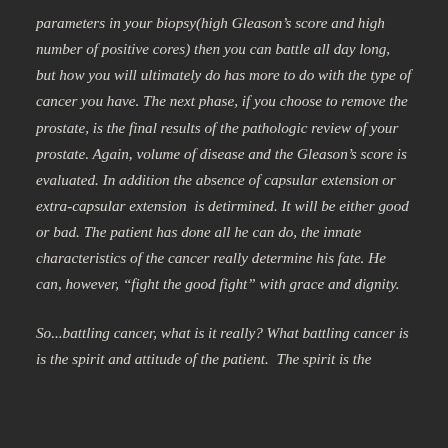parameters in your biopsy(high Gleason's score and high number of positive cores) then you can battle all day long, but how you will ultimately do has more to do with the type of cancer you have. The next phase, if you choose to remove the prostate, is the final results of the pathologic review of your prostate. Again, volume of disease and the Gleason's score is evaluated. In addition the absence of capsular extension or extra-capsular extension  is detirmined. It will be either good or bad. The patient has done all he can do, the innate characteristics of the cancer really determine his fate. He can, however, “fight the good fight” with grace and dignity.
So...battling cancer, what is it really? What battling cancer is is the spirit and attitude of the patient.  The spirit is the